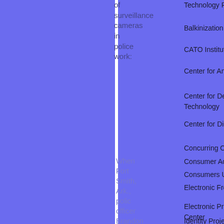of surveillance cameras in police work:
Technology Program
Balkinization
CATO Institute
Center for American Progress
Center for Democracy and Technology
Center for Digital Democracy
Concurring Opinions
Consumer Action
Consumers Union
Electronic Frontier Foundation
Electronic Privacy Information Center
Identity Project
Identity Theft Resource Center
Krebs on Security
Patient Privacy Rights
When Fort Smith, Ark., police officer Brandon Davis opened the door to a home during